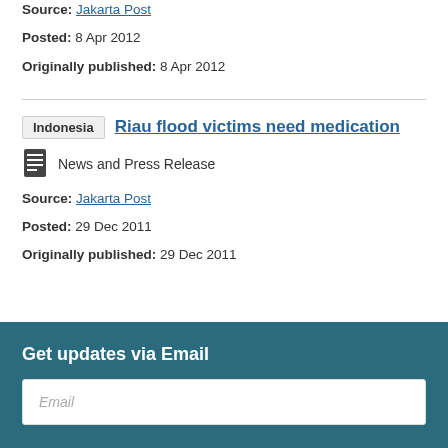Source: Jakarta Post
Posted: 8 Apr 2012
Originally published: 8 Apr 2012
Riau flood victims need medication
News and Press Release
Source: Jakarta Post
Posted: 29 Dec 2011
Originally published: 29 Dec 2011
Get updates via Email